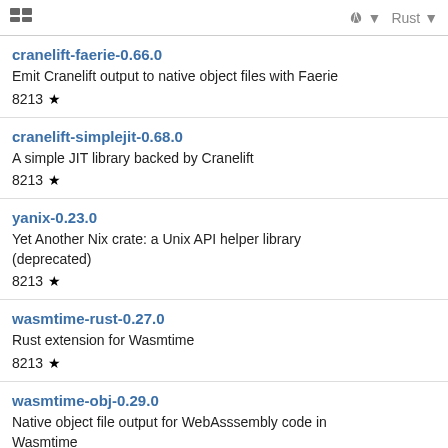🎲  🌿 ▼  Rust ▼
cranelift-faerie-0.66.0
Emit Cranelift output to native object files with Faerie
8213 ★
cranelift-simplejit-0.68.0
A simple JIT library backed by Cranelift
8213 ★
yanix-0.23.0
Yet Another Nix crate: a Unix API helper library (deprecated)
8213 ★
wasmtime-rust-0.27.0
Rust extension for Wasmtime
8213 ★
wasmtime-obj-0.29.0
Native object file output for WebAsssembly code in Wasmtime
8213 ★